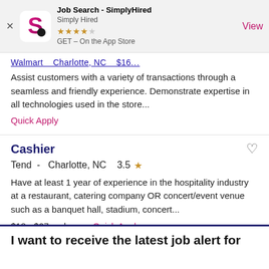[Figure (screenshot): App Store banner for Job Search - SimplyHired app showing logo, star rating, and View button]
Walmart   Charlotte, NC   $16...
Assist customers with a variety of transactions through a seamless and friendly experience. Demonstrate expertise in all technologies used in the store...
Quick Apply
Cashier
Tend -   Charlotte, NC   3.5 ★
Have at least 1 year of experience in the hospitality industry at a restaurant, catering company OR concert/event venue such as a banquet hall, stadium, concert...
$18 - $27 an hour   Quick Apply
I want to receive the latest job alert for